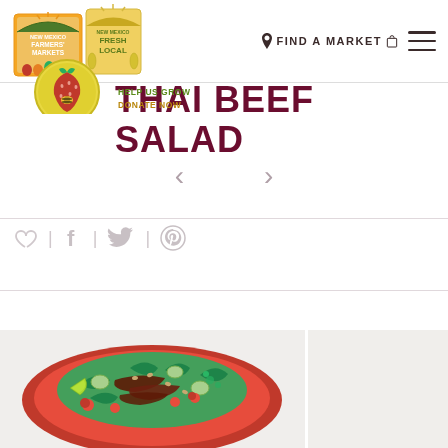[Figure (logo): New Mexico Farmers Markets and Fresh Local logos with strawberry/bee emblem]
FIND A MARKET
THAI BEEF SALAD
HELP US GROW
DONATE NOW
[Figure (illustration): Navigation arrows (left and right chevrons) for recipe slider]
[Figure (illustration): Social share icons: heart, facebook, twitter, pinterest]
[Figure (photo): Thai beef salad served on a red plate with greens, sliced beef, cherry tomatoes, cucumber, and peanuts]